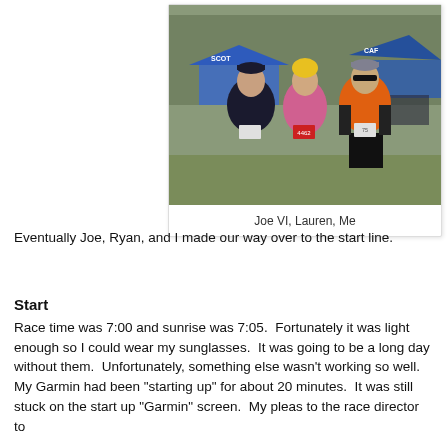[Figure (photo): Three runners posing at a race event with blue tents and trees in the background. Left person wears a dark hoodie and black cap, middle person wears a pink jacket and yellow beanie, right person wears an orange shirt, black shorts, sunglasses and a grey cap.]
Joe VI, Lauren, Me
Eventually Joe, Ryan, and I made our way over to the start line.
Start
Race time was 7:00 and sunrise was 7:05.  Fortunately it was light enough so I could wear my sunglasses.  It was going to be a long day without them.  Unfortunately, something else wasn't working so well.  My Garmin had been "starting up" for about 20 minutes.  It was still stuck on the start up "Garmin" screen.  My pleas to the race director to hold off the race were ignored and I didn't get all...